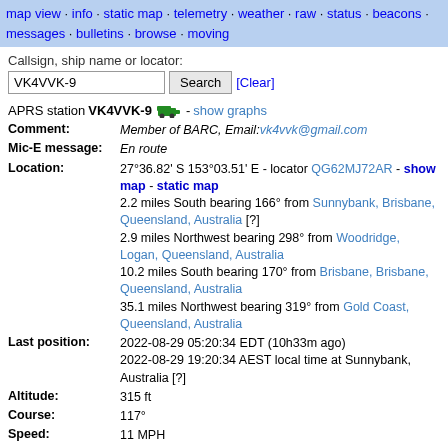map view · info · static map · telemetry · weather · raw · status · beacons · messages · bulletins · browse · moving
Callsign, ship name or locator:
VK4VVK-9  Search  [Clear]
APRS station VK4VVK-9 [truck icon] - show graphs
| Field | Value |
| --- | --- |
| Comment: | Member of BARC, Email:vk4vvk@gmail.com |
| Mic-E message: | En route |
| Location: | 27°36.82' S 153°03.51' E - locator QG62MJ72AR - show map - static map
2.2 miles South bearing 166° from Sunnybank, Brisbane, Queensland, Australia [?]
2.9 miles Northwest bearing 298° from Woodridge, Logan, Queensland, Australia
10.2 miles South bearing 170° from Brisbane, Brisbane, Queensland, Australia
35.1 miles Northwest bearing 319° from Gold Coast, Queensland, Australia |
| Last position: | 2022-08-29 05:20:34 EDT (10h33m ago)
2022-08-29 19:20:34 AEST local time at Sunnybank, Australia [?] |
| Altitude: | 315 ft |
| Course: | 117° |
| Speed: | 11 MPH |
| Device: | Kenwood: TM-D710 (rig) |
| Last path: | VK4VVK-9>RW36X2 via WIDE1-1,WIDE2-1,qAR,VK4RAI-3 |